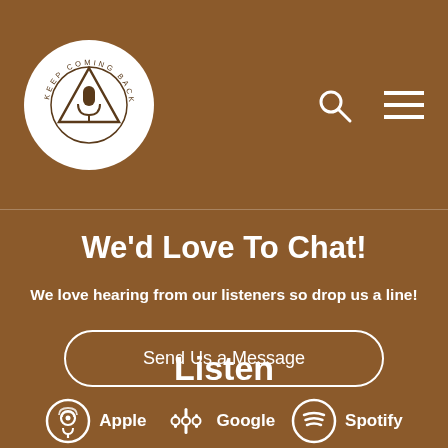[Figure (logo): Keep Coming Back circular logo with microphone and triangle inside a white circle]
We'd Love To Chat!
We love hearing from our listeners so drop us a line!
Send Us a Message
Listen
[Figure (logo): Apple Podcasts icon, Google Podcasts icon, and Spotify icon with labels Apple, Google, Spotify]